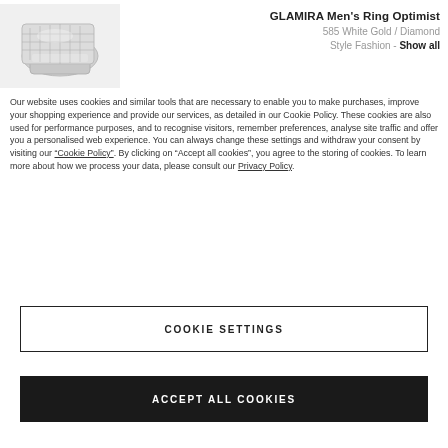[Figure (photo): Photo of a GLAMIRA Men's Ring Optimist - a diamond-studded square silver ring shown from an angle]
GLAMIRA Men's Ring Optimist
585 White Gold / Diamond
Style Fashion - Show all
Our website uses cookies and similar tools that are necessary to enable you to make purchases, improve your shopping experience and provide our services, as detailed in our Cookie Policy. These cookies are also used for performance purposes, and to recognise visitors, remember preferences, analyse site traffic and offer you a personalised web experience. You can always change these settings and withdraw your consent by visiting our “Cookie Policy”. By clicking on “Accept all cookies”, you agree to the storing of cookies. To learn more about how we process your data, please consult our Privacy Policy.
COOKIE SETTINGS
ACCEPT ALL COOKIES